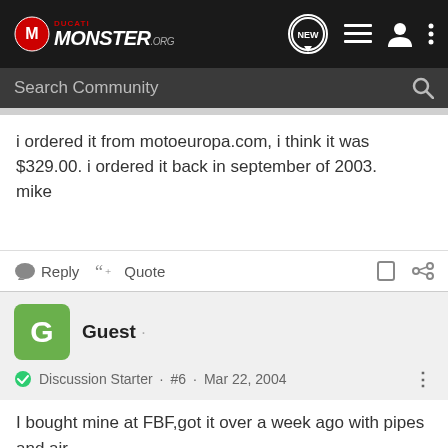Ducati Monster .org — Navigation bar with logo, NEW, list, user, and menu icons
Search Community
i ordered it from motoeuropa.com, i think it was $329.00. i ordered it back in september of 2003.
mike
Reply  Quote
Guest ·
Discussion Starter · #6 · Mar 22, 2004
I bought mine at FBF,got it over a week ago with pipes and air